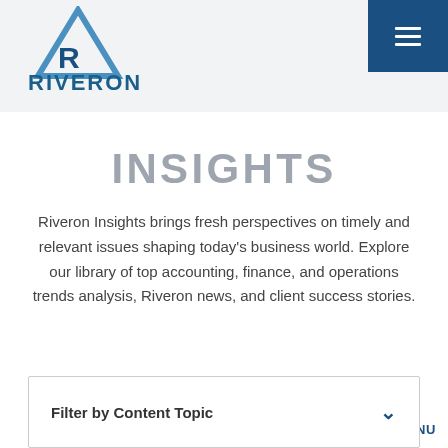[Figure (logo): Riveron company logo with blue triangle/mountain icon and 'RIVERON' text in dark teal]
MENU
INSIGHTS
Riveron Insights brings fresh perspectives on timely and relevant issues shaping today's business world. Explore our library of top accounting, finance, and operations trends analysis, Riveron news, and client success stories.
Filter by Content Topic